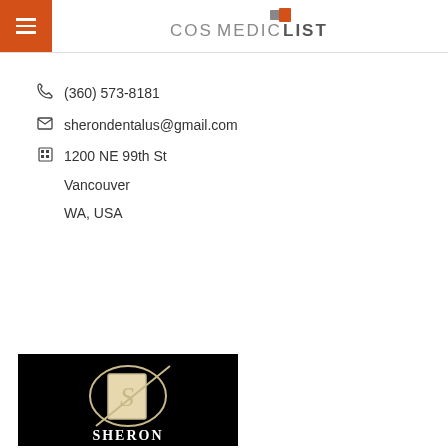[Figure (logo): CosMedicList logo with navigation hamburger menu button in orange on the left and the CosMedicList brand name with a plus icon in grey and orange on the right]
(360) 573-8181
sherondentalus@gmail.com
1200 NE 99th St
Vancouver
WA, USA
[Figure (logo): Sheron Dental logo on a black background featuring a stylized letter S inside an oval and rectangle frame with the word SHERON in white serif text below]